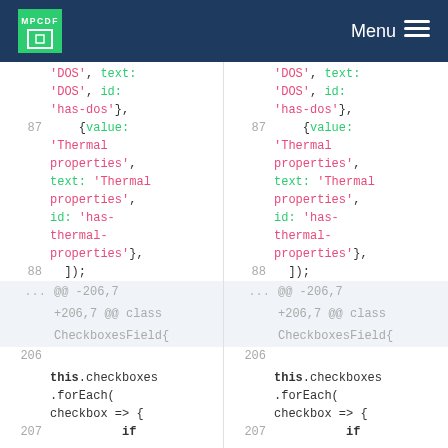MPCDF | Menu
[Figure (screenshot): A code diff view showing two side-by-side columns of JavaScript code. Left and right columns are identical. Lines 87-88 show object with value:'Thermal properties', text:'Thermal properties', id:'has-thermal-properties'}. Line 88 closes the array. A hunk header shows @@ -206,7 +206,7 @@ class CheckboxesField{. Line 206 shows this.checkboxes.forEach(checkbox => {. Line 207 shows if.]